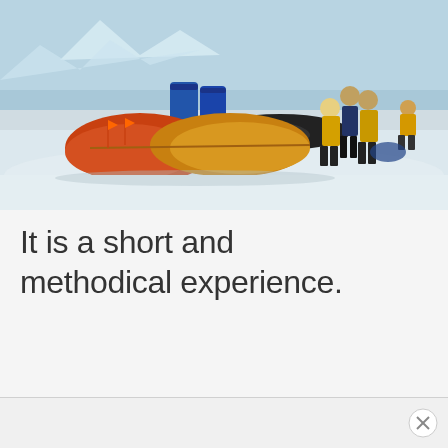[Figure (photo): Outdoor Antarctic camping scene: yellow and red dome tents on snow, blue barrels in background, several people in yellow jackets standing and one crouching, icy water and glaciers visible in the far background under overcast sky.]
It is a short and methodical experience.